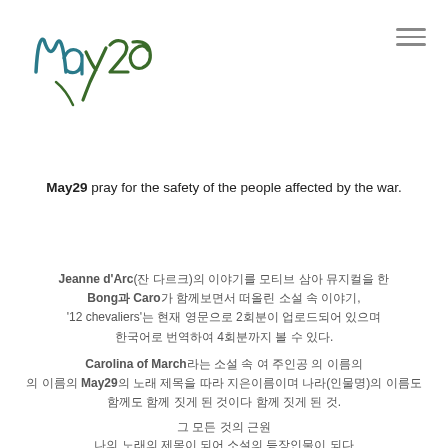[Figure (logo): May29 handwritten logo in teal/blue and green colors with a decorative flourish]
May29 pray for the safety of the people affected by the war.
Jeanne d'Arc(잔 다르크)의 이야기를 모티브 삼아 뮤지컬을 Bong과 Caro가 함께보면서 떠올린 소설 속 이야기, '12 chevaliers'는 현재 영문으로 2회분이 업로드되어 있으며 한국어로 번역하여 4회분까지 볼 수 있다.
Carolina of March라는 소설 속 여 주인공 의 이름의 May29의 노래 제목을 따라 지은이름이며 나라(인물명)의 모티브 이름도 함께 짓게 된 것.
그 모든 것의 근원
나의 노래의 제목이 되어 소설의 등장인물이
이제 소설에서 Caro의 이야기로 한 곳 한 곳 한 음표 음표마다.